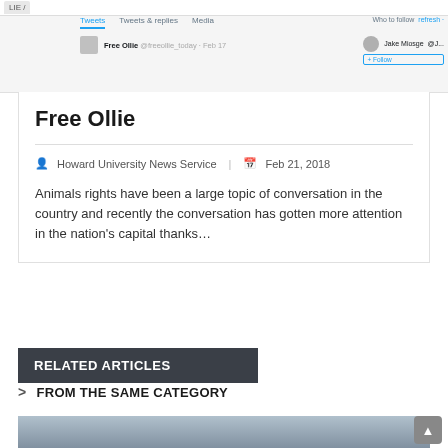[Figure (screenshot): Partial screenshot of a Twitter/social media page showing tabs: Tweets, Tweets & replies, Media and a 'Who to follow' section with Jake Miosge, and a tweet from 'Free Ollie @freeollie_today · Feb 17']
Free Ollie
Howard University News Service | Feb 21, 2018
Animals rights have been a large topic of conversation in the country and recently the conversation has gotten more attention in the nation's capital thanks…
RELATED ARTICLES
FROM THE SAME CATEGORY
[Figure (photo): Partial photo of a person's face, appears to be a close-up portrait with red in the background]